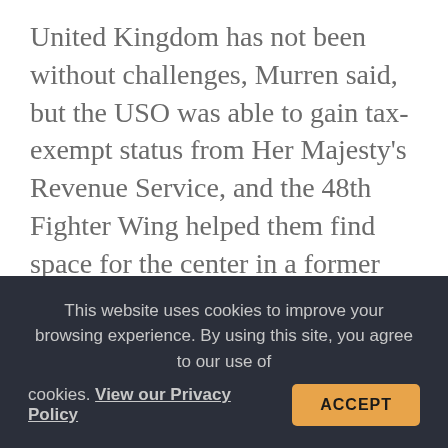United Kingdom has not been without challenges, Murren said, but the USO was able to gain tax-exempt status from Her Majesty's Revenue Service, and the 48th Fighter Wing helped them find space for the center in a former library that is centrally located between single service members and families.
“This is really a very special USO center,” Murren said. “We have not since our beginning, … almost 80 years ago, we have not had a USO in the United Kingdom, even
This website uses cookies to improve your browsing experience. By using this site, you agree to our use of cookies. View our Privacy Policy ACCEPT